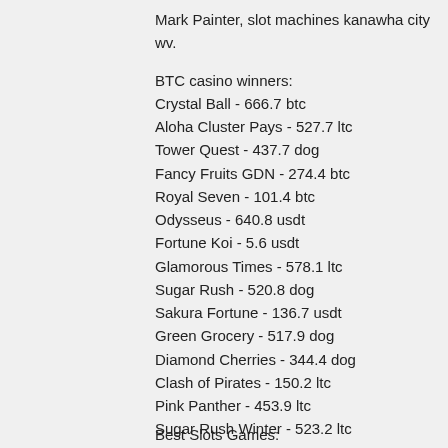Mark Painter, slot machines kanawha city wv.
BTC casino winners:
Crystal Ball - 666.7 btc
Aloha Cluster Pays - 527.7 ltc
Tower Quest - 437.7 dog
Fancy Fruits GDN - 274.4 btc
Royal Seven - 101.4 btc
Odysseus - 640.8 usdt
Fortune Koi - 5.6 usdt
Glamorous Times - 578.1 ltc
Sugar Rush - 520.8 dog
Sakura Fortune - 136.7 usdt
Green Grocery - 517.9 dog
Diamond Cherries - 344.4 dog
Clash of Pirates - 150.2 ltc
Pink Panther - 453.9 ltc
Sugar Rush Winter - 523.2 ltc
Best Slots Games: